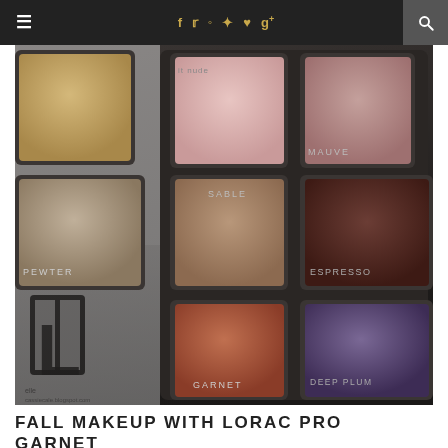Navigation bar with hamburger menu, social icons (f, twitter, instagram, pinterest, heart, g+), and search button
[Figure (photo): Close-up photo of a LORAC Pro eyeshadow palette showing multiple eyeshadow pans in various warm and cool tones. Visible shade labels include: MAUVE, SABLE, ESPRESSO, PEWTER, GARNET, DEEP PLUM. The palette has a dark/black frame. Watermark reads elle/cassiecale.blogspot.com.]
FALL MAKEUP WITH LORAC PRO GARNET